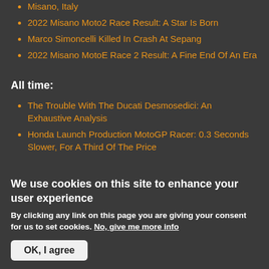Misano, Italy
2022 Misano Moto2 Race Result: A Star Is Born
Marco Simoncelli Killed In Crash At Sepang
2022 Misano MotoE Race 2 Result: A Fine End Of An Era
All time:
The Trouble With The Ducati Desmosedici: An Exhaustive Analysis
Honda Launch Production MotoGP Racer: 0.3 Seconds Slower, For A Third Of The Price
We use cookies on this site to enhance your user experience
By clicking any link on this page you are giving your consent for us to set cookies. No, give me more info
OK, I agree